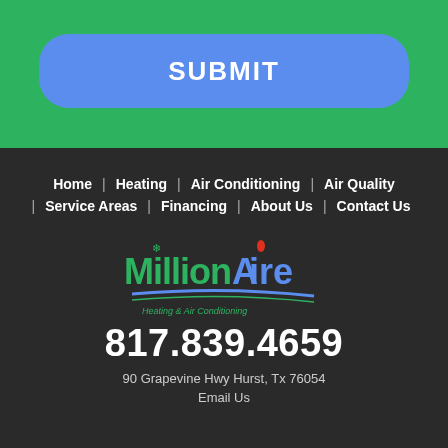SUBMIT
Home | Heating | Air Conditioning | Air Quality | Service Areas | Financing | About Us | Contact Us
[Figure (logo): MillionAire Heating & Air Conditioning logo with green and blue text and a flame icon]
817.839.4659
90 Grapevine Hwy Hurst, Tx 76054
Email Us